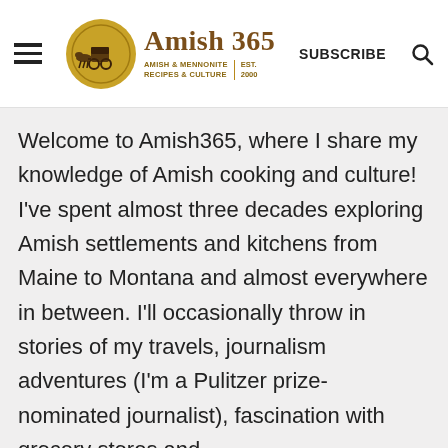Amish 365 — AMISH & MENNONITE RECIPES & CULTURE | EST. 2000 | SUBSCRIBE
Welcome to Amish365, where I share my knowledge of Amish cooking and culture! I've spent almost three decades exploring Amish settlements and kitchens from Maine to Montana and almost everywhere in between. I'll occasionally throw in stories of my travels, journalism adventures (I'm a Pulitzer prize-nominated journalist), fascination with grocery stores and Kmarts, and much more!